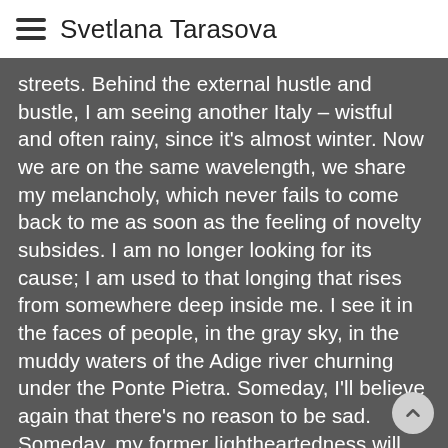Svetlana Tarasova
streets. Behind the external hustle and bustle, I am seeing another Italy – wistful and often rainy, since it's almost winter. Now we are on the same wavelength, we share my melancholy, which never fails to come back to me as soon as the feeling of novelty subsides. I am no longer looking for its cause; I am used to that longing that rises from somewhere deep inside me. I see it in the faces of people, in the gray sky, in the muddy waters of the Adige river churning under the Ponte Pietra. Someday, I'll believe again that there's no reason to be sad. Someday, my former lightheartedness will come back to me. In the meantime, after finishing my latte macchiato, I go on wandering without purpose or plan in the rainy streets. I observe the signs of modernity or, on the contrary, get lost in time, traveling many years back, and play with the scenery of the old walls to create my own stories.